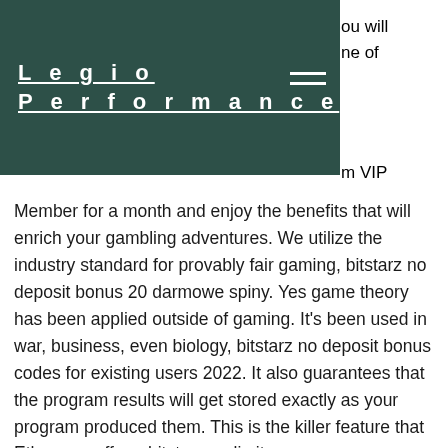Legio Performance
ou will ne of m VIP Member for a month and enjoy the benefits that will enrich your gambling adventures. We utilize the industry standard for provably fair gaming, bitstarz no deposit bonus 20 darmowe spiny. Yes game theory has been applied outside of gaming. It's been used in war, business, even biology, bitstarz no deposit bonus codes for existing users 2022. It also guarantees that the program results will get stored exactly as your program produced them. This is the killer feature that Ethereum offers, bitstarz no limit.
Бесплатные вращения bitstarz, bitstarz bonus no deposit